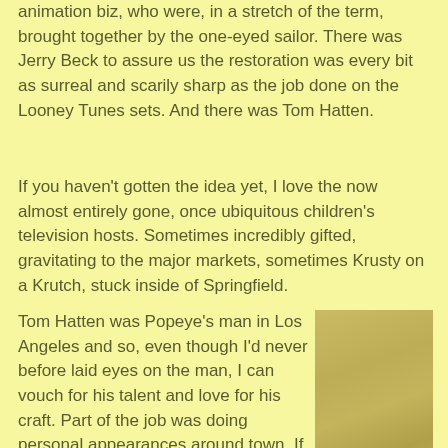animation biz, who were, in a stretch of the term, brought together by the one-eyed sailor.  There was Jerry Beck to assure us the restoration was every bit as surreal and scarily sharp as the job done on the Looney Tunes sets.  And there was Tom Hatten.
If you haven't gotten the idea yet, I love the now almost entirely gone, once ubiquitous children's television hosts.  Sometimes incredibly gifted, gravitating to the major markets, sometimes Krusty on a Krutch, stuck inside of Springfield.
Tom Hatten was Popeye's man in Los Angeles and so, even though I'd never before laid eyes on the man, I can vouch for his talent and love for his craft.  Part of the job was doing personal appearances around town.  If it was anything like the one's I went to in Cleveland, Ohio (Jungle Larry) and on Long Island (Soupy
[Figure (photo): A faded yellowish photo of people at what appears to be a personal appearance or event.]